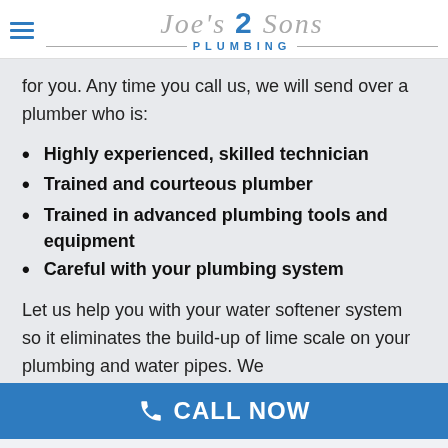[Figure (logo): Joe's 2 Sons Plumbing logo with hamburger menu icon on the left]
for you. Any time you call us, we will send over a plumber who is:
Highly experienced, skilled technician
Trained and courteous plumber
Trained in advanced plumbing tools and equipment
Careful with your plumbing system
Let us help you with your water softener system so it eliminates the build-up of lime scale on your plumbing and water pipes. We
CALL NOW